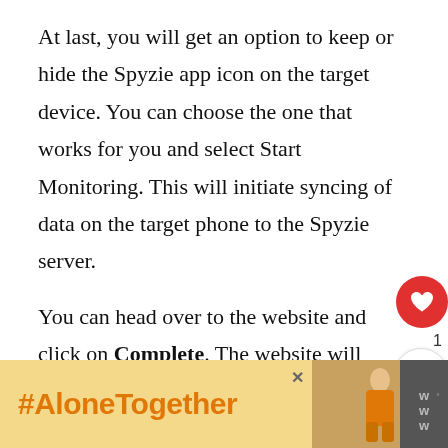At last, you will get an option to keep or hide the Spyzie app icon on the target device. You can choose the one that works for you and select Start Monitoring. This will initiate syncing of data on the target phone to the Spyzie server.
You can head over to the website and click on Complete. The website will check for successful setup of the app on the target device and if everything is fine it will show you a success message. Here you need to click on Start Monitoring.
[Figure (screenshot): Advertisement banner at bottom: yellow background with orange #AloneTogether hashtag text, a small close X button, a photo of a woman, and a dark logo area on the right.]